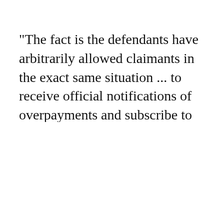"The fact is the defendants have arbitrarily allowed claimants in the exact same situation ... to receive official notifications of overpayments and subscribe to letter and spirit (of) the law
By clicking “Accept All Cookies”, you agree to the storing of cookies on your device to enhance site navigation, analyze site usage, and assist in our marketing efforts.
Accept All Cookies
Reject All
Cookies Settings